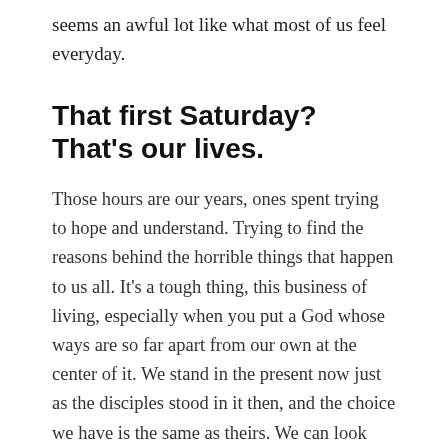seems an awful lot like what most of us feel everyday.
That first Saturday? That's our lives.
Those hours are our years, ones spent trying to hope and understand. Trying to find the reasons behind the horrible things that happen to us all. It's a tough thing, this business of living, especially when you put a God whose ways are so far apart from our own at the center of it. We stand in the present now just as the disciples stood in it then, and the choice we have is the same as theirs. We can look back to despair, or we can look ahead and hope. It's a daring hope, no doubt, one that seems near to impossible. And yet that is where we all must turn, and that is what we all must cling to—that stone rolled away. That empty tomb.